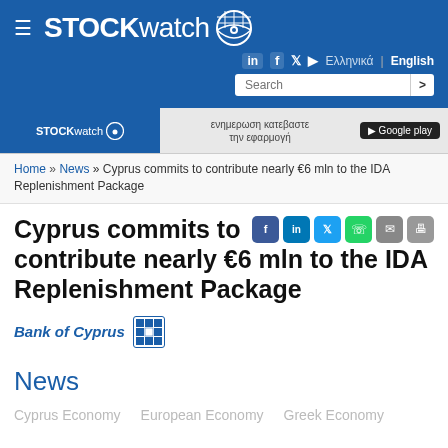STOCKWATCH
Home » News » Cyprus commits to contribute nearly €6 mln to the IDA Replenishment Package
Cyprus commits to contribute nearly €6 mln to the IDA Replenishment Package
[Figure (logo): Bank of Cyprus logo with grid icon]
News
Cyprus Economy   European Economy   Greek Economy